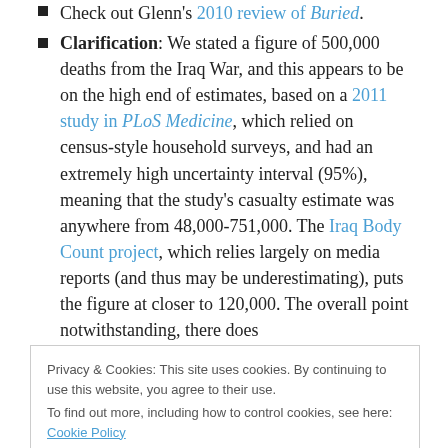Check out Glenn's 2010 review of Buried.
Clarification: We stated a figure of 500,000 deaths from the Iraq War, and this appears to be on the high end of estimates, based on a 2011 study in PLoS Medicine, which relied on census-style household surveys, and had an extremely high uncertainty interval (95%), meaning that the study's casualty estimate was anywhere from 48,000-751,000. The Iraq Body Count project, which relies largely on media reports (and thus may be underestimating), puts the figure at closer to 120,000. The overall point notwithstanding, there does
Privacy & Cookies: This site uses cookies. By continuing to use this website, you agree to their use.
To find out more, including how to control cookies, see here: Cookie Policy
foot long, and 2,333 foot wide at its widest point. If Paul